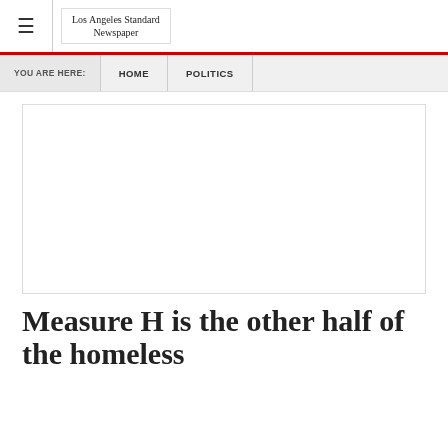Los Angeles Standard Newspaper
YOU ARE HERE:  HOME  POLITICS
[Figure (other): Blank white image placeholder box with a thin border]
Measure H is the other half of the homeless